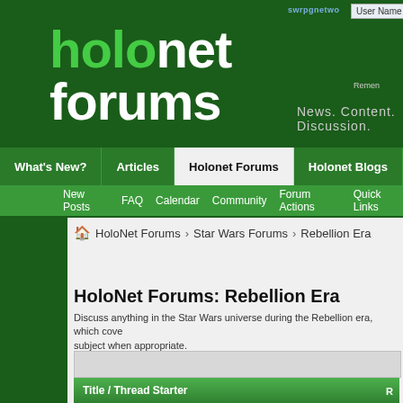[Figure (screenshot): HoloNet Forums website header with green logo showing 'holo' in green and 'net forums' in white, tagline 'News. Content. Discussion.', swrpgnetwork label, User Name login box]
swrpgnetwork | User Name | Remember Me
holonet forums
News. Content. Discussion.
What's New? | Articles | Holonet Forums | Holonet Blogs
New Posts
FAQ
Calendar
Community
Forum Actions
Quick Links
HoloNet Forums  Star Wars Forums  Rebellion Era
HoloNet Forums: Rebellion Era
Discuss anything in the Star Wars universe during the Rebellion era, which covers... subject when appropriate.
| Title / Thread Starter | R |
| --- | --- |
| Sticky: The new "Books in the Rebellion Era" list
Started by Deck, 11 February 2009 02:08 AM | P |
Qu...